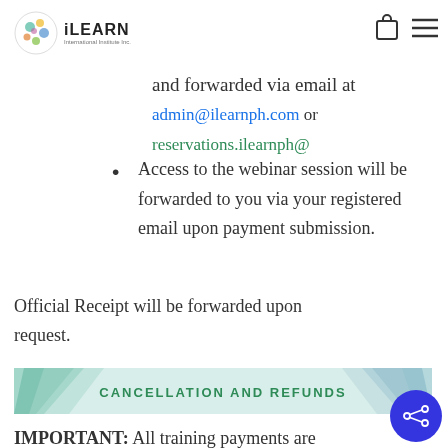iLEARN International Institute Inc.
of payment must be signe and forwarded via email at admin@ilearnph.com or reservations.ilearnph@
Access to the webinar session will be forwarded to you via your registered email upon payment submission.
Official Receipt will be forwarded upon request.
CANCELLATION AND REFUNDS
IMPORTANT: All training payments are NON Refundable but transferrable to